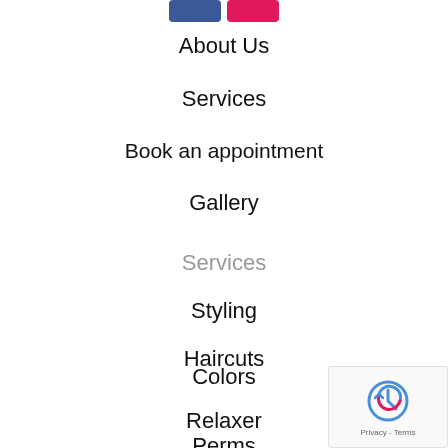[Figure (other): Two social media button icons - blue and pink/red rectangles]
About Us
Services
Book an appointment
Gallery
Services
Styling
Haircuts
Colors
Relaxer
Perms
[Figure (other): reCAPTCHA Privacy - Terms badge in bottom right corner]